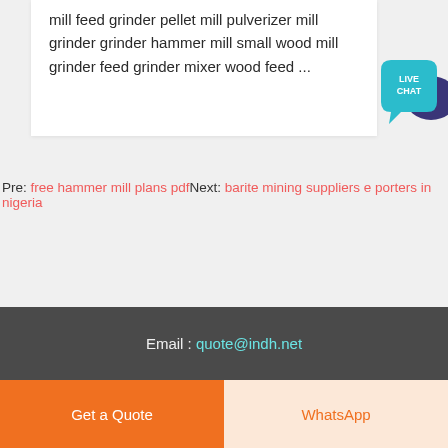mill feed grinder pellet mill pulverizer mill grinder grinder hammer mill small wood mill grinder feed grinder mixer wood feed ...
[Figure (illustration): Live chat speech bubble icon with teal front bubble and dark navy back bubble, text LIVE CHAT in white]
Pre: free hammer mill plans pdfNext: barite mining suppliers e porters in nigeria
Email : quote@indh.net
Get a Quote
WhatsApp